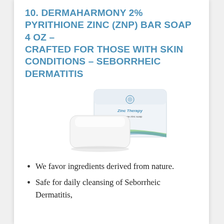10. DERMAHARMONY 2% PYRITHIONE ZINC (ZNP) BAR SOAP 4 OZ – CRAFTED FOR THOSE WITH SKIN CONDITIONS – SEBORRHEIC DERMATITIS
[Figure (photo): Photo of DermaHarmony Zinc Therapy bar soap — a white rectangular bar of soap in front of its white packaging labeled 'Zinc Therapy']
We favor ingredients derived from nature.
Safe for daily cleansing of Seborrheic Dermatitis,